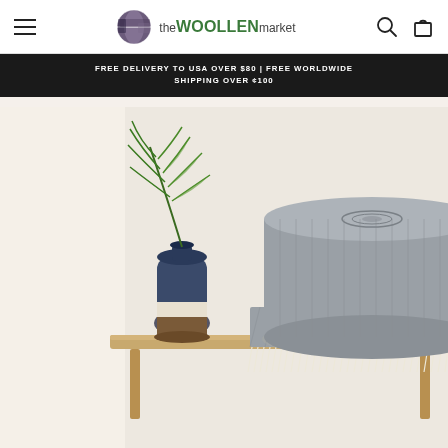the WOOLLEN market — navigation header with menu, logo, search and cart icons
FREE DELIVERY TO USA OVER $80 | FREE WORLDWIDE SHIPPING OVER ¢100
[Figure (photo): A grey herringbone wool throw blanket rolled up and placed on a light wooden bench, with a palm leaf in a navy/cream/brown ceramic vase beside it. The blanket has cream fringe edges. Neutral cream/beige background.]